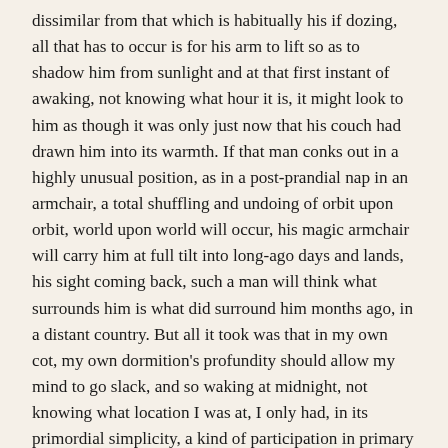dissimilar from that which is habitually his if dozing, all that has to occur is for his arm to lift so as to shadow him from sunlight and at that first instant of awaking, not knowing what hour it is, it might look to him as though it was only just now that his couch had drawn him into its warmth. If that man conks out in a highly unusual position, as in a post-prandial nap in an armchair, a total shuffling and undoing of orbit upon orbit, world upon world will occur, his magic armchair will carry him at full tilt into long-ago days and lands, his sight coming back, such a man will think what surrounds him is what did surround him months ago, in a distant country. But all it took was that in my own cot, my own dormition's profundity should allow my mind to go slack, and so waking at midnight, not knowing what location I was at, I only had, in its primordial simplicity, a kind of participation in primary actuality as it was as it might churn far within an animal's soul; and I was as starkly solitary, as lacking in situational surrounding, as a lithic, grotto-inhabitant, living prior to all human history. But a flashback—not of any location I was, but of a handful of locations I had, and might still, inhabit, coming in aid from on high, dragging my mind away from that void out of which, as a solitary soul, I could find no way